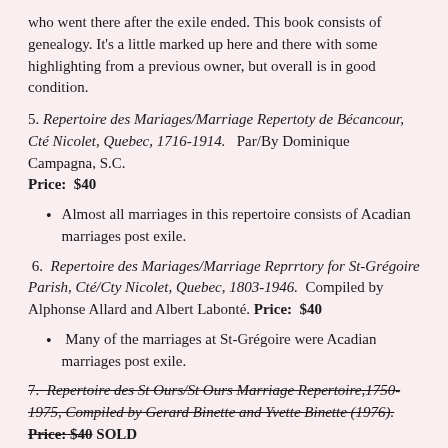who went there after the exile ended. This book consists of genealogy. It's a little marked up here and there with some highlighting from a previous owner, but overall is in good condition.
5. Repertoire des Mariages/Marriage Repertoty de Bécancour, Cté Nicolet, Quebec, 1716-1914. Par/By Dominique Campagna, S.C. Price: $40
Almost all marriages in this repertoire consists of Acadian marriages post exile.
6. Repertoire des Mariages/Marriage Reprrtory for St-Grégoire Parish, Cté/Cty Nicolet, Quebec, 1803-1946. Compiled by Alphonse Allard and Albert Labonté. Price: $40
Many of the marriages at St-Grégoire were Acadian marriages post exile.
7. Repertoire des St Ours/St Ours Marriage Repertoire,1750-1975, Compiled by Gerard Binette and Yvette Binette (1976). Price: $40 SOLD
Another predominantly Acadian parish post exile.